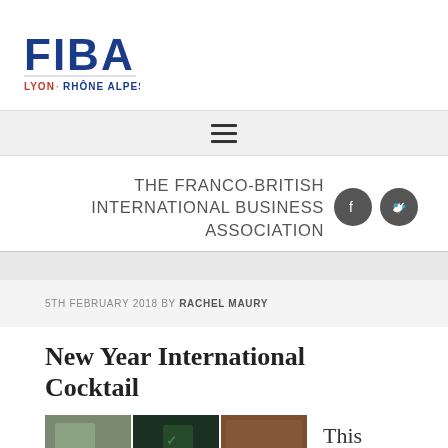[Figure (logo): FIBA Lyon Rhône Alpes logo — bold blue FIBA text with red and blue subtitle]
THE FRANCO-BRITISH INTERNATIONAL BUSINESS ASSOCIATION
5TH FEBRUARY 2018 BY RACHEL MAURY
New Year International Cocktail
[Figure (photo): Three partial photos of an event — dark/green tinted images partially visible at bottom of page]